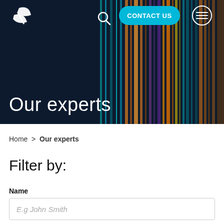[Figure (screenshot): Website hero banner with dark navy background and colorful vertical light streaks (teal, orange, purple, yellow) on the right side. Navigation bar at top with a white leaf/plant logo on the left, a search icon, a cyan 'CONTACT US' button, and a hamburger menu button in a circle.]
Our experts
Home > Our experts
Filter by:
Name
E.g John Smith